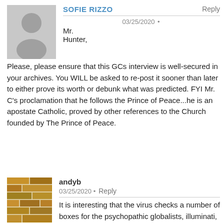[Figure (photo): Gray default avatar silhouette for user Sofie Rizzo]
SOFIE RIZZO
Reply
03/25/2020 •
Mr. Hunter, Please, please ensure that this GCs interview is well-secured in your archives. You WILL be asked to re-post it sooner than later to either prove its worth or debunk what was predicted. FYI Mr. C's proclamation that he follows the Prince of Peace...he is an apostate Catholic, proved by other references to the Church founded by The Prince of Peace.
[Figure (photo): Brick wall texture avatar image for user andyb]
andyb
03/25/2020 •
Reply
It is interesting that the virus checks a number of boxes for the psychopathic globalists, illuminati, et al. The first is incremental genocide that has been moving along nicely through water fluoridation, vaccines with neurotoxic ingredients, climate geoengineering, GMOs, Monsanto's